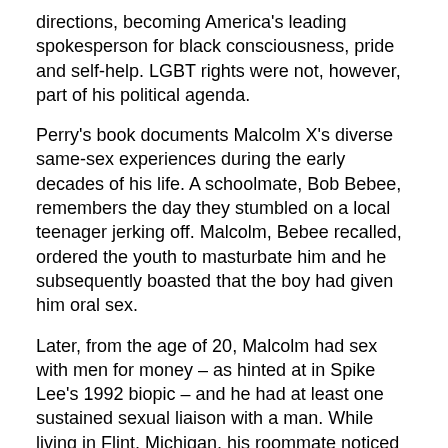directions, becoming America's leading spokesperson for black consciousness, pride and self-help. LGBT rights were not, however, part of his political agenda.
Perry's book documents Malcolm X's diverse same-sex experiences during the early decades of his life. A schoolmate, Bob Bebee, remembers the day they stumbled on a local teenager jerking off. Malcolm, Bebee recalled, ordered the youth to masturbate him and he subsequently boasted that the boy had given him oral sex.
Later, from the age of 20, Malcolm had sex with men for money – as hinted at in Spike Lee's 1992 biopic – and he had at least one sustained sexual liaison with a man. While living in Flint, Michigan, his roommate noticed that instead of sleeping in the room they were sharing, Malcolm sneaked down the hall to spend the night with a male tenant in their building, gay Willie Mae.
In New York, two of Malcolm's friends from Michigan remember bumping into him at the YMCA,